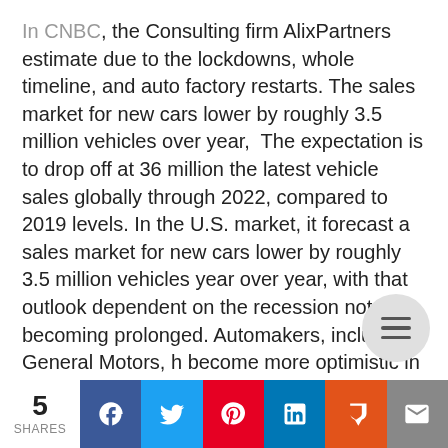In CNBC, the Consulting firm AlixPartners estimate due to the lockdowns, whole timeline, and auto factory restarts. The sales market for new cars lower by roughly 3.5 million vehicles over year, The expectation is to drop off at 36 million the latest vehicle sales globally through 2022, compared to 2019 levels. In the U.S. market, it forecast a sales market for new cars lower by roughly 3.5 million vehicles year over year, with that outlook dependent on the recession not becoming prolonged. Automakers, including General Motors, h become more optimistic in commentary since
5 SHARES | Facebook | Twitter | Pinterest | LinkedIn | Mix | Email